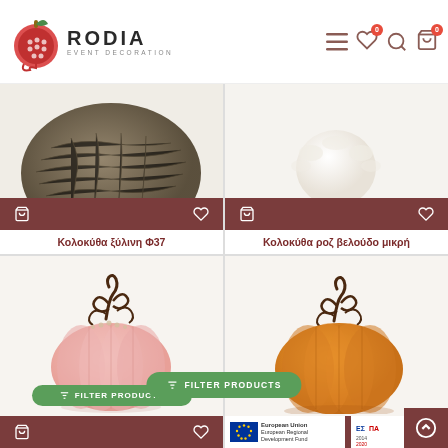RODIA EVENT DECORATION - e-shop header with navigation icons
[Figure (screenshot): Top-left product: close-up of an olive/dark chain ball decoration on white background]
Κολοκύθα ξύλινη Φ37
[Figure (screenshot): Top-right product: white fluffy pom-pom or cream colored round decoration on white background]
Κολοκύθα ροζ βελούδο μικρή
[Figure (photo): Bottom-left product: pink velvet pumpkin decoration with dark twisted stem]
[Figure (photo): Bottom-right product: orange/golden velvet pumpkin decoration with dark twisted stem]
FILTER PRODUCTS
European Union European Regional Development Fund | 2014-2020